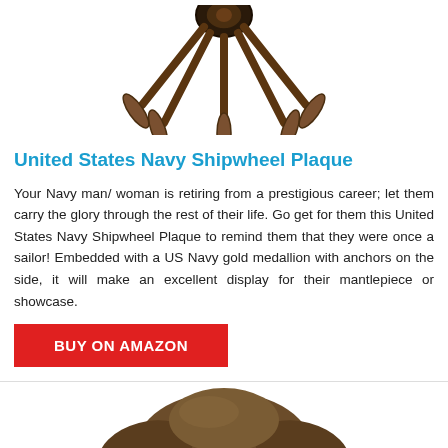[Figure (photo): Partial view of a wooden ship's wheel/helm from above, showing the center hub and some handles, against a white background.]
United States Navy Shipwheel Plaque
Your Navy man/ woman is retiring from a prestigious career; let them carry the glory through the rest of their life. Go get for them this United States Navy Shipwheel Plaque to remind them that they were once a sailor! Embedded with a US Navy gold medallion with anchors on the side, it will make an excellent display for their mantlepiece or showcase.
BUY ON AMAZON
[Figure (photo): A person wearing a brown tricorn pirate/captain hat with a white bandana and dark dreadlocked hair, visible from the shoulders up.]